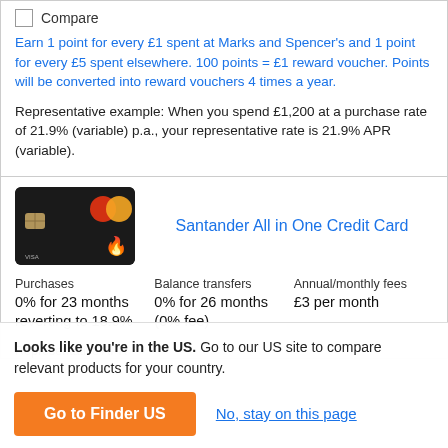Compare
Earn 1 point for every £1 spent at Marks and Spencer's and 1 point for every £5 spent elsewhere. 100 points = £1 reward voucher. Points will be converted into reward vouchers 4 times a year.
Representative example: When you spend £1,200 at a purchase rate of 21.9% (variable) p.a., your representative rate is 21.9% APR (variable).
[Figure (photo): Black Santander All in One Credit Card with Mastercard logo]
Santander All in One Credit Card
| Purchases | Balance transfers | Annual/monthly fees |
| --- | --- | --- |
| 0% for 23 months reverting to 18.9% | 0% for 26 months (0% fee) | £3 per month |
Representative APR
Looks like you're in the US. Go to our US site to compare relevant products for your country.
Go to Finder US
No, stay on this page